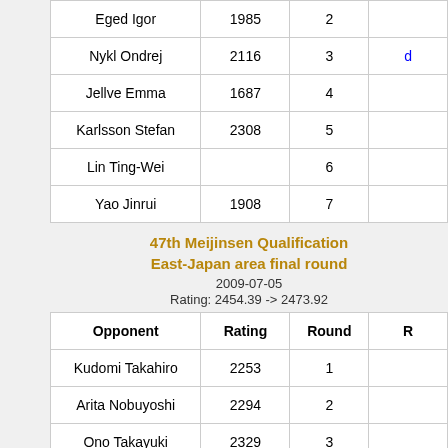| Opponent | Rating | Round | Result |
| --- | --- | --- | --- |
| Eged Igor | 1985 | 2 |  |
| Nykl Ondrej | 2116 | 3 | d... |
| Jellve Emma | 1687 | 4 |  |
| Karlsson Stefan | 2308 | 5 |  |
| Lin Ting-Wei |  | 6 |  |
| Yao Jinrui | 1908 | 7 |  |
47th Meijinsen Qualification East-Japan area final round
2009-07-05
Rating: 2454.39 -> 2473.92
| Opponent | Rating | Round | Result |
| --- | --- | --- | --- |
| Kudomi Takahiro | 2253 | 1 |  |
| Arita Nobuyoshi | 2294 | 2 |  |
| Ono Takayuki | 2329 | 3 |  |
| Yamaguchi Yusui | 2436 | 4 |  |
| Mitsumori Masao | 2293 | 5 |  |